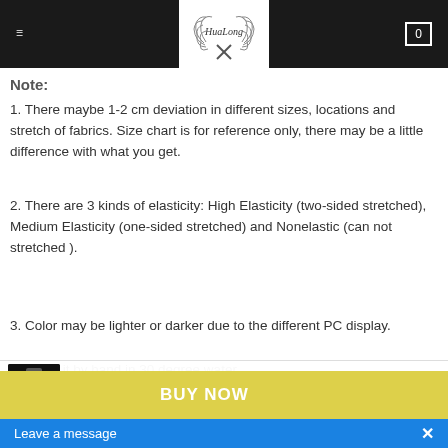HuaLong — navigation bar with logo and cart
Note:
1. There maybe 1-2 cm deviation in different sizes, locations and stretch of fabrics. Size chart is for reference only, there may be a little difference with what you get.
2. There are 3 kinds of elasticity: High Elasticity (two-sided stretched), Medium Elasticity (one-sided stretched) and Nonelastic (can not stretched ).
3. Color may be lighter or darker due to the different PC display.
4. Wash it by hand in 30 degree water, hang to dry in shade.
[Figure (screenshot): Add to cart bottom bar with product thumbnail, quantity selector showing 1, and salmon-colored ADD TO CART button]
[Figure (screenshot): Yellow BUY NOW bar at the bottom of the screen]
[Figure (screenshot): Blue Leave a message bar at the very bottom with X close button]